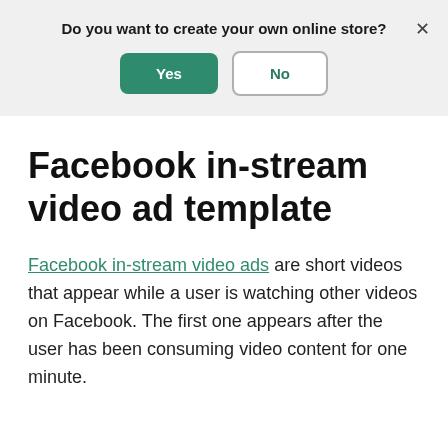Do you want to create your own online store?
Yes
No
Facebook in-stream video ad template
Facebook in-stream video ads are short videos that appear while a user is watching other videos on Facebook. The first one appears after the user has been consuming video content for one minute.